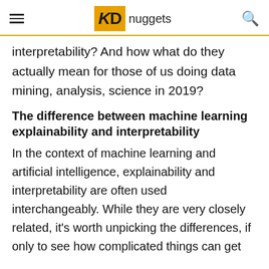KD nuggets
interpretability? And how what do they actually mean for those of us doing data mining, analysis, science in 2019?
The difference between machine learning explainability and interpretability
In the context of machine learning and artificial intelligence, explainability and interpretability are often used interchangeably. While they are very closely related, it's worth unpicking the differences, if only to see how complicated things can get